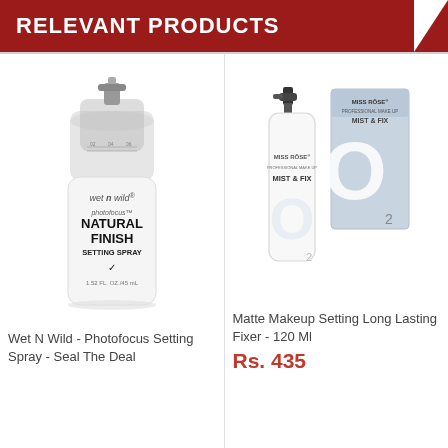RELEVANT PRODUCTS
[Figure (photo): Wet N Wild Photofocus Natural Finish Setting Spray bottle with clear cap]
Wet N Wild - Photofocus Setting Spray - Seal The Deal
[Figure (photo): Miss Rose Mist & Fix Matte Makeup Setting Long Lasting Fixer 120ml bottle and box]
Matte Makeup Setting Long Lasting Fixer - 120 Ml
Rs. 435